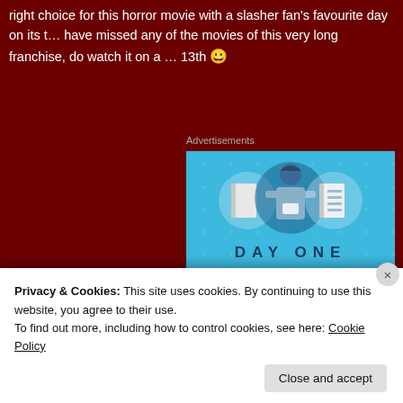right choice for this horror movie with a slasher fan's favourite day on its t... have missed any of the movies of this very long franchise, do watch it on a ... 13th 😀
Advertisements
[Figure (illustration): Day One journaling app advertisement. Blue background with illustrated person holding phone, flanked by two circular icons showing notebooks. Text reads 'DAY ONE' and 'The only journaling app you'll ever need.' with a download button.]
Privacy & Cookies: This site uses cookies. By continuing to use this website, you agree to their use.
To find out more, including how to control cookies, see here: Cookie Policy
Close and accept